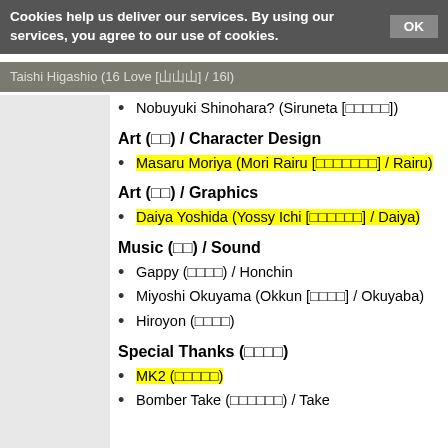Cookies help us deliver our services. By using our services, you agree to our use of cookies. OK
Taishi Higashio (16 Love [□□□] / 16l)
Nobuyuki Shinohara? (Siruneta [□□□□□])
Art (□□) / Character Design
Masaru Moriya (Mori Rairu [□□□□□□□] / Rairu)
Art (□□) / Graphics
Daiya Yoshida (Yossy Ichi [□□□□□□] / Daiya)
Music (□□) / Sound
Gappy (□□□□) / Honchin
Miyoshi Okuyama (Okkun [□□□□] / Okuyaba)
Hiroyon (□□□□)
Special Thanks (□□□□)
MK2 (□□□□□)
Bomber Take (□□□□□□) / Take